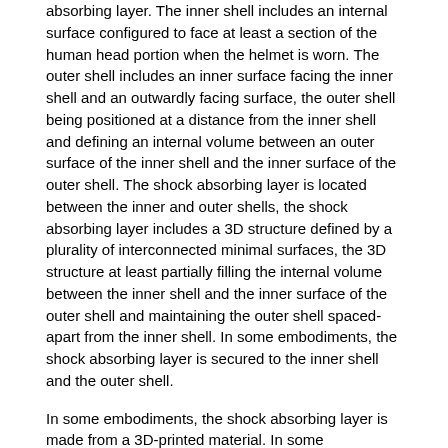absorbing layer. The inner shell includes an internal surface configured to face at least a section of the human head portion when the helmet is worn. The outer shell includes an inner surface facing the inner shell and an outwardly facing surface, the outer shell being positioned at a distance from the inner shell and defining an internal volume between an outer surface of the inner shell and the inner surface of the outer shell. The shock absorbing layer is located between the inner and outer shells, the shock absorbing layer includes a 3D structure defined by a plurality of interconnected minimal surfaces, the 3D structure at least partially filling the internal volume between the inner shell and the inner surface of the outer shell and maintaining the outer shell spaced-apart from the inner shell. In some embodiments, the shock absorbing layer is secured to the inner shell and the outer shell.
In some embodiments, the shock absorbing layer is made from a 3D-printed material. In some embodiments, the inner shell and the outer shell are made from a 3D- printed material and printed as a single piece with the shock absorbing layer.
In some embodiments, the plurality of interconnected